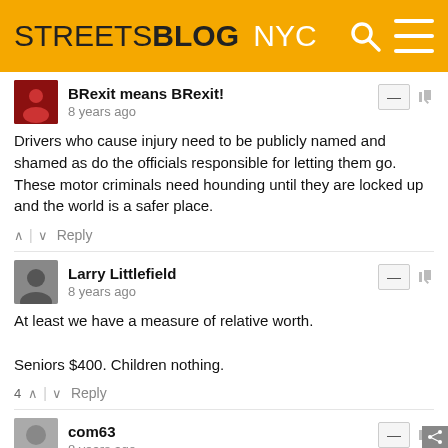STREETSBLOG NYC
BRexit means BRexit!
8 years ago
Drivers who cause injury need to be publicly named and shamed as do the officials responsible for letting them go. These motor criminals need hounding until they are locked up and the world is a safer place.
Reply
Larry Littlefield
8 years ago
At least we have a measure of relative worth.

Seniors $400. Children nothing.
4 Reply
com63
8 years ago
There was a video of this. She was illegally backing down the street so she wouldn't have to drive around the block. How is that not criminality!!! There is video, what more do we need!